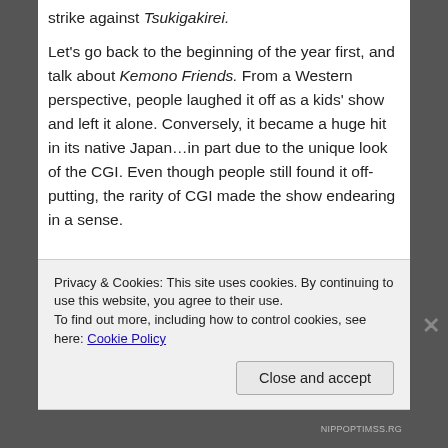strike against Tsukigakirei.
Let's go back to the beginning of the year first, and talk about Kemono Friends. From a Western perspective, people laughed it off as a kids' show and left it alone. Conversely, it became a huge hit in its native Japan…in part due to the unique look of the CGI. Even though people still found it off-putting, the rarity of CGI made the show endearing in a sense.
Privacy & Cookies: This site uses cookies. By continuing to use this website, you agree to their use.
To find out more, including how to control cookies, see here: Cookie Policy
Close and accept
NIPPOPTIMSS.RG